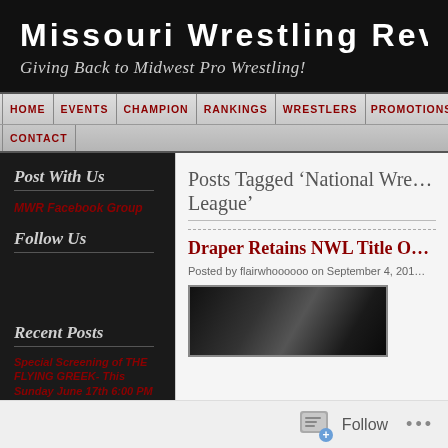Missouri Wrestling Rev
Giving Back to Midwest Pro Wrestling!
HOME | EVENTS | CHAMPION | RANKINGS | WRESTLERS | PROMOTIONS | CONTACT
Post With Us
MWR Facebook Group
Follow Us
Recent Posts
Special Screening of THE FLYING GREEK- This Sunday June 17th 6:00 PM Springfield, MO July 12, 2022
Posts Tagged ‘National Wre… League’
Draper Retains NWL Title O…
Posted by flairwhoooooo on September 4, 2017
[Figure (photo): Wrestling event photo, dark background with figures visible]